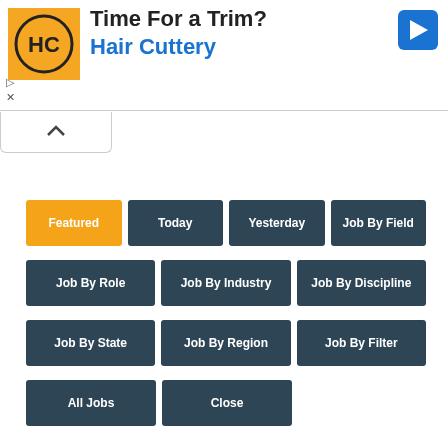[Figure (other): Hair Cuttery advertisement banner with logo, 'Time For a Trim?' text, and navigation arrow icon]
Featured
Today
Yesterday
Job By Field
Job By Role
Job By Industry
Job By Discipline
Job By State
Job By Region
Job By Filter
All Jobs
Close